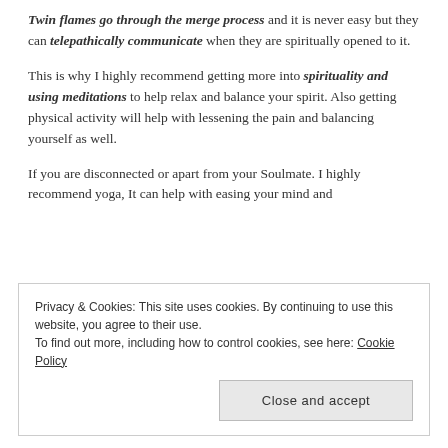Twin flames go through the merge process and it is never easy but they can telepathically communicate when they are spiritually opened to it.
This is why I highly recommend getting more into spirituality and using meditations to help relax and balance your spirit. Also getting physical activity will help with lessening the pain and balancing yourself as well.
If you are disconnected or apart from your Soulmate. I highly recommend yoga, It can help with easing your mind and
Privacy & Cookies: This site uses cookies. By continuing to use this website, you agree to their use. To find out more, including how to control cookies, see here: Cookie Policy
Close and accept